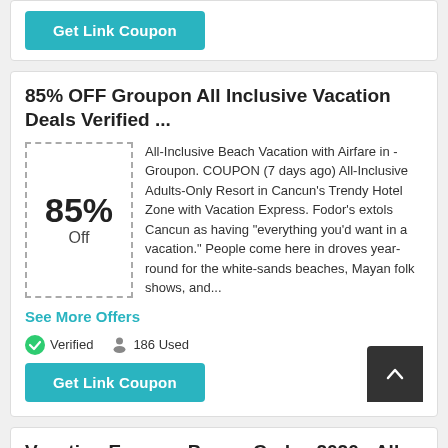[Figure (other): Get Link Coupon teal button at top of page]
85% OFF Groupon All Inclusive Vacation Deals Verified ...
All-Inclusive Beach Vacation with Airfare in - Groupon. COUPON (7 days ago) All-Inclusive Adults-Only Resort in Cancun's Trendy Hotel Zone with Vacation Express. Fodor's extols Cancun as having "everything you'd want in a vacation." People come here in droves year-round for the white-sands beaches, Mayan folk shows, and...
See More Offers
Verified   186 Used
[Figure (other): Get Link Coupon teal button]
Vacation Express Promo Codes 2020 - All Special Coupons
vacation express coupon code 2020. 202085% off Offer